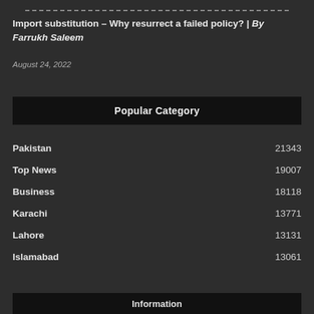Import substitution – Why resurrect a failed policy? | By Farrukh Saleem
August 24, 2022
Popular Category
Pakistan 21343
Top News 19007
Business 18118
Karachi 13771
Lahore 13131
Islamabad 13061
Information